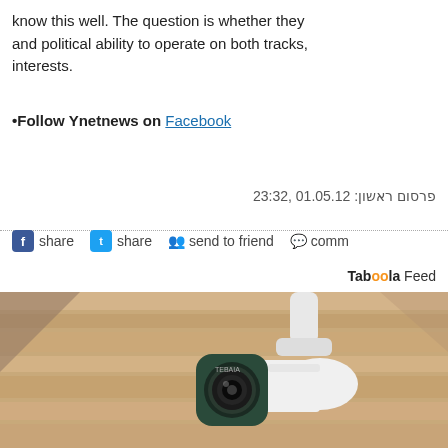know this well. The question is whether they and political ability to operate on both tracks, interests.
Follow Ynetnews on Facebook
פרסום ראשון: 01.05.12 ,23:32
share  share  send to friend  comm
Taboola Feed
[Figure (photo): A white security/surveillance camera mounted on a wooden ceiling, viewed from below at an angle. The camera has a dark green/teal face with a circular lens.]